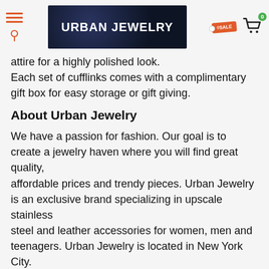[Figure (screenshot): Urban Jewelry website header with hamburger menu, search icon, logo, sale tag, and shopping cart with 0 badge]
attire for a highly polished look.
Each set of cufflinks comes with a complimentary gift box for easy storage or gift giving.
About Urban Jewelry
We have a passion for fashion. Our goal is to create a jewelry haven where you will find great quality,
affordable prices and trendy pieces. Urban Jewelry is an exclusive brand specializing in upscale stainless
steel and leather accessories for women, men and teenagers. Urban Jewelry is located in New York City.
From the runway to your home, Urban Jewelry collection features the
latest styles, unique pieces, which will make you